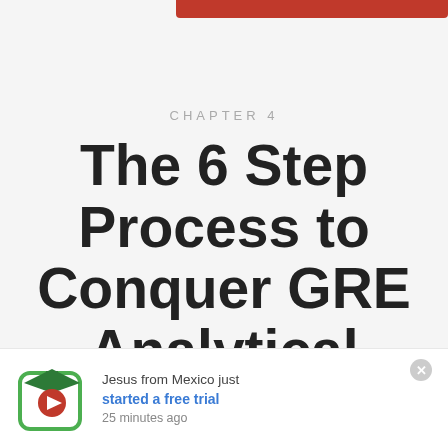CHAPTER 4
The 6 Step Process to Conquer GRE Analytical Writing
Jesus from Mexico just started a free trial 25 minutes ago